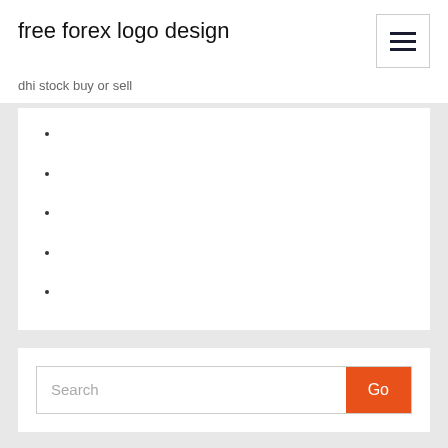free forex logo design
dhi stock buy or sell
Search
New Posts